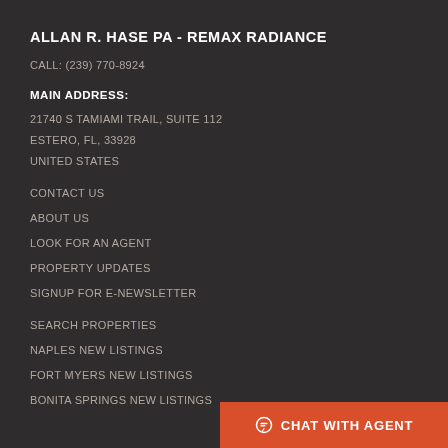ALLAN R. HASE PA - REMAX RADIANCE
CALL: (239) 770-8924
MAIN ADDRESS:
21740 S TAMIAMI TRAIL, SUITE 112
ESTERO, FL, 33928
UNITED STATES
CONTACT US
ABOUT US
LOOK FOR AN AGENT
PROPERTY UPDATES
SIGNUP FOR E-NEWSLETTER
SEARCH PROPERTIES
NAPLES NEW LISTINGS
FORT MYERS NEW LISTINGS
BONITA SPRINGS NEW LISTINGS
CHAT WITH AGENT